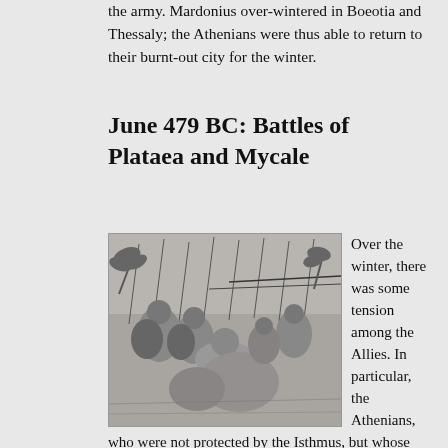the army. Mardonius over-wintered in Boeotia and Thessaly; the Athenians were thus able to return to their burnt-out city for the winter.
June 479 BC: Battles of Plataea and Mycale
[Figure (illustration): Black and white illustration of an ancient battle scene with soldiers in combat, wielding spears and shields, in a chaotic battlefield setting.]
Over the winter, there was some tension among the Allies. In particular, the Athenians, who were not protected by the Isthmus, but whose fleet was the key to the security of the Peloponnesus, felt that they had been treated unfairly, and so they refused to join the Allied navy in the spring.Holland, pp. 333–335. Mardonius remained in Thessaly, knowing an attack on the Isthmus was pointless, while the Allies refused to send an army